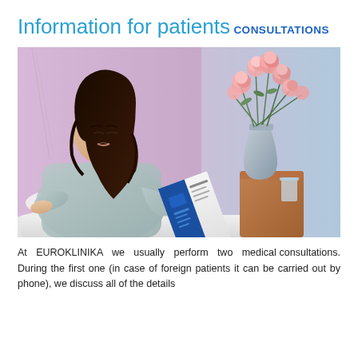Information for patients
CONSULTATIONS
[Figure (photo): A young woman with dark hair in a hospital gown sitting in a hospital bed reading a blue brochure; a vase of pink carnations and a wooden bedside table with a glass visible behind her; pink and blue walls in the background]
At EUROKLINIKA we usually perform two medical consultations. During the first one (in case of foreign patients it can be carried out by phone), we discuss all of the details